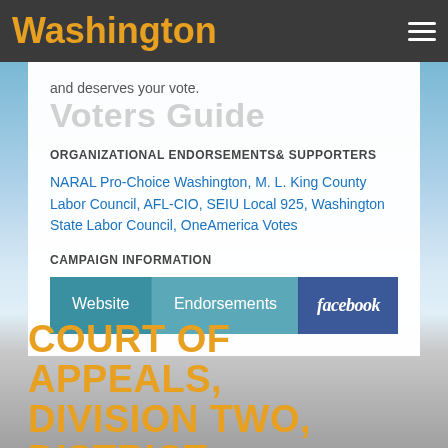Washington Voters Guide
and deserves your vote.
ORGANIZATIONAL ENDORSEMENTS& SUPPORTERS
NARAL Pro-Choice Washington, M. L. King County Labor Council, AFL-CIO, SEIU Local 925, Washington State Labor Council, OneAmerica Votes
CAMPAIGN INFORMATION
Website | Endorsements | facebook
COURT OF APPEALS, DIVISION TWO, DISTRICT THREE